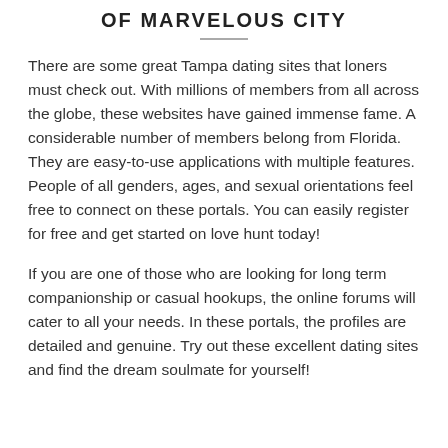OF MARVELOUS CITY
There are some great Tampa dating sites that loners must check out. With millions of members from all across the globe, these websites have gained immense fame. A considerable number of members belong from Florida. They are easy-to-use applications with multiple features. People of all genders, ages, and sexual orientations feel free to connect on these portals. You can easily register for free and get started on love hunt today!
If you are one of those who are looking for long term companionship or casual hookups, the online forums will cater to all your needs. In these portals, the profiles are detailed and genuine. Try out these excellent dating sites and find the dream soulmate for yourself!